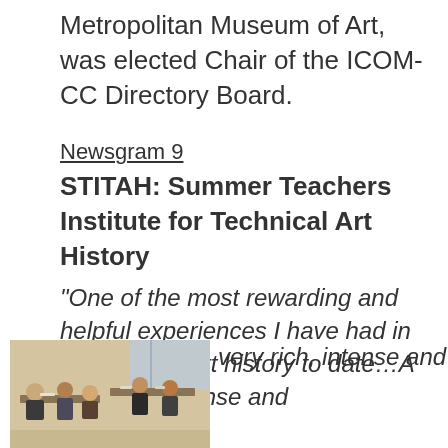Metropolitan Museum of Art, was elected Chair of the ICOM-CC Directory Board.
Newsgram 9
STITAH: Summer Teachers Institute for Technical Art History
“One of the most rewarding and helpful experiences I have had in my study of art history to date…A very rich, intense and
[Figure (photo): People gathered around tables in what appears to be a workshop or classroom setting, viewed from above at an angle.]